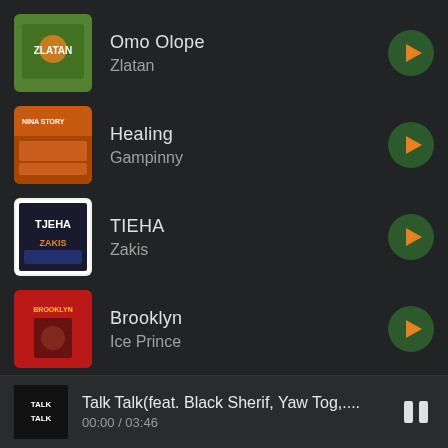Omo Olope / Zlatan
Healing / Gampinny
TIEHA / Zakis
Brooklyn / Ice Prince
Mind Your Business / Dopenation
Talk Talk(feat. Black Sherif, Yaw Tog,.... 00:00 / 03:46